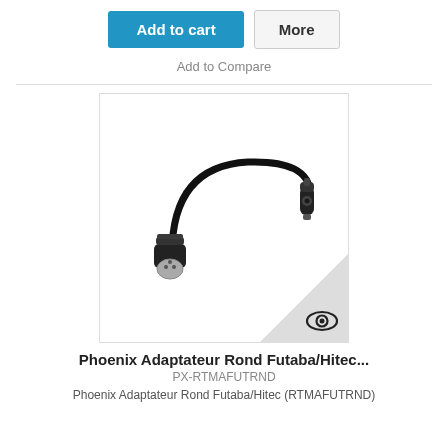[Figure (other): Two buttons: 'Add to cart' (blue) and 'More' (grey)]
Add to Compare
[Figure (photo): Photo of a Phoenix adapter cable Rond Futaba/Hitec (PX-RTMAFUTRND) - a short black cable with a DIN connector on one end and a 3.5mm jack on the other, with an eye/quick-view icon in the lower right corner.]
Phoenix Adaptateur Rond Futaba/Hitec...
PX-RTMAFUTRND
Phoenix Adaptateur Rond Futaba/Hitec (RTMAFUTRND)